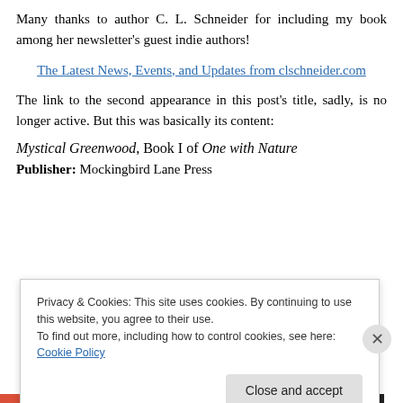Many thanks to author C. L. Schneider for including my book among her newsletter's guest indie authors!
The Latest News, Events, and Updates from clschneider.com
The link to the second appearance in this post's title, sadly, is no longer active. But this was basically its content:
Mystical Greenwood, Book I of One with Nature
Publisher: Mockingbird Lane Press
Privacy & Cookies: This site uses cookies. By continuing to use this website, you agree to their use.
To find out more, including how to control cookies, see here: Cookie Policy